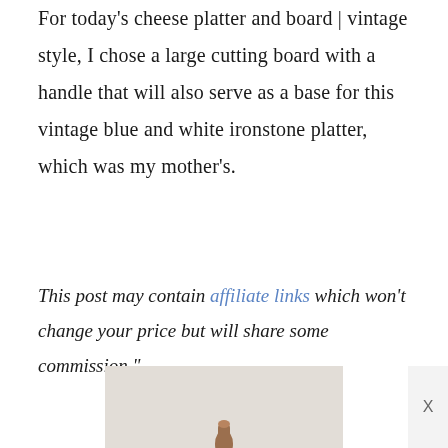For today's cheese platter and board | vintage style, I chose a large cutting board with a handle that will also serve as a base for this vintage blue and white ironstone platter, which was my mother's.
This post may contain affiliate links which won't change your price but will share some commission."
[Figure (photo): Partial image of a cutting board with a wooden handle visible at the bottom of the page against a light beige/gray background]